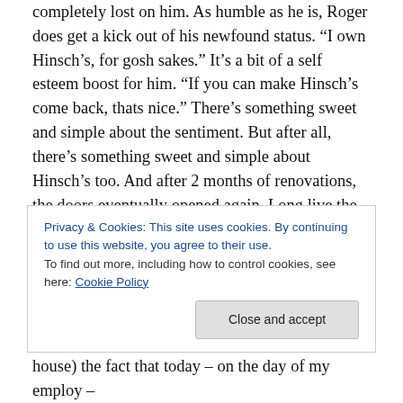completely lost on him. As humble as he is, Roger does get a kick out of his newfound status. “I own Hinsch’s, for gosh sakes.” It’s a bit of a self esteem boost for him. “If you can make Hinsch’s come back, thats nice.” There’s something sweet and simple about the sentiment. But after all, there’s something sweet and simple about Hinsch’s too. And after 2 months of renovations, the doors eventually opened again. Long live the luncheonette.
Roger is the one-time bartender turn soda fountain owner responsible for saving our fair Hinsch’s. He’s the man that
Privacy & Cookies: This site uses cookies. By continuing to use this website, you agree to their use.
To find out more, including how to control cookies, see here: Cookie Policy
house) the fact that today – on the day of my employ –